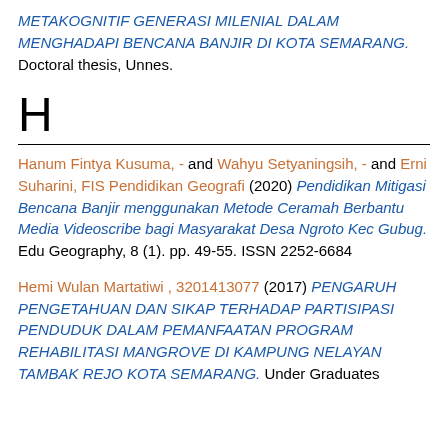METAKOGNITIF GENERASI MILENIAL DALAM MENGHADAPI BENCANA BANJIR DI KOTA SEMARANG. Doctoral thesis, Unnes.
H
Hanum Fintya Kusuma, - and Wahyu Setyaningsih, - and Erni Suharini, FIS Pendidikan Geografi (2020) Pendidikan Mitigasi Bencana Banjir menggunakan Metode Ceramah Berbantu Media Videoscribe bagi Masyarakat Desa Ngroto Kec Gubug. Edu Geography, 8 (1). pp. 49-55. ISSN 2252-6684
Hemi Wulan Martatiwi , 3201413077 (2017) PENGARUH PENGETAHUAN DAN SIKAP TERHADAP PARTISIPASI PENDUDUK DALAM PEMANFAATAN PROGRAM REHABILITASI MANGROVE DI KAMPUNG NELAYAN TAMBAK REJO KOTA SEMARANG. Under Graduates